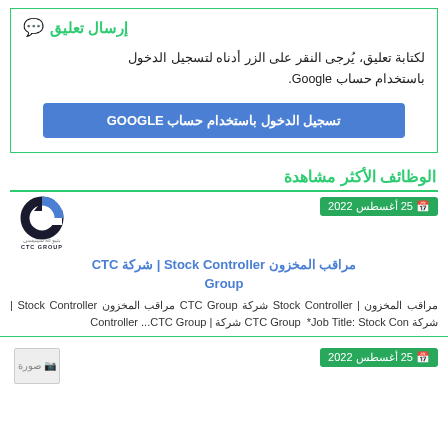إرسال تعليق
لكتابة تعليق، يُرجى النقر على الزر أدناه لتسجيل الدخول باستخدام حساب Google.
تسجيل الدخول باستخدام حساب GOOGLE
الوظائف الأكثر مشاهدة
25 أغسطس 2022
[Figure (logo): CTC Group logo - circular arrow icon with text CTC GROUP]
مراقب المخزون Stock Controller | شركة CTC Group
مراقب المخزون | Stock Controller شركة CTC Group مراقب المخزون Stock Controller | شركة CTC Group *Job Title: Stock Con ...CTC Group
25 أغسطس 2022
[Figure (illustration): Image placeholder with camera icon and Arabic text صورة]